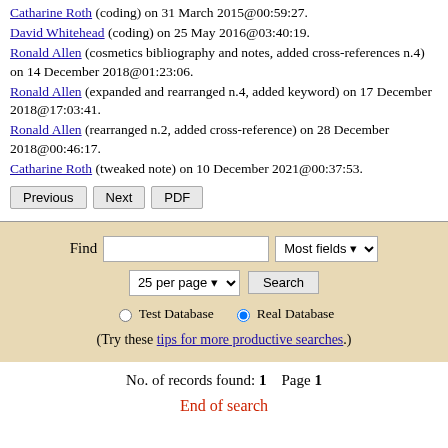Catharine Roth (coding) on 31 March 2015@00:59:27. David Whitehead (coding) on 25 May 2016@03:40:19. Ronald Allen (cosmetics bibliography and notes, added cross-references n.4) on 14 December 2018@01:23:06. Ronald Allen (expanded and rearranged n.4, added keyword) on 17 December 2018@17:03:41. Ronald Allen (rearranged n.2, added cross-reference) on 28 December 2018@00:46:17. Catharine Roth (tweaked note) on 10 December 2021@00:37:53.
Previous | Next | PDF
Find [text field] [Most fields dropdown] [25 per page dropdown] [Search button] Test Database (radio) Real Database (radio selected) (Try these tips for more productive searches.)
No. of records found: 1    Page 1
End of search